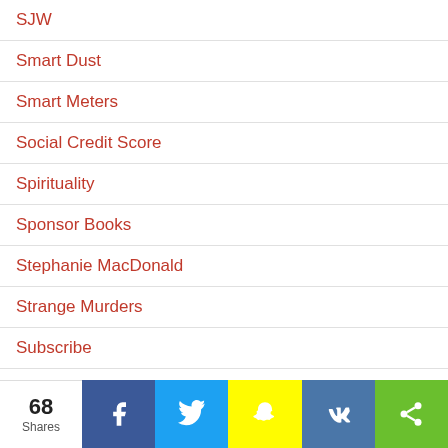SJW
Smart Dust
Smart Meters
Social Credit Score
Spirituality
Sponsor Books
Stephanie MacDonald
Strange Murders
Subscribe
Sun-gazing
Sustainable Housing
68 Shares